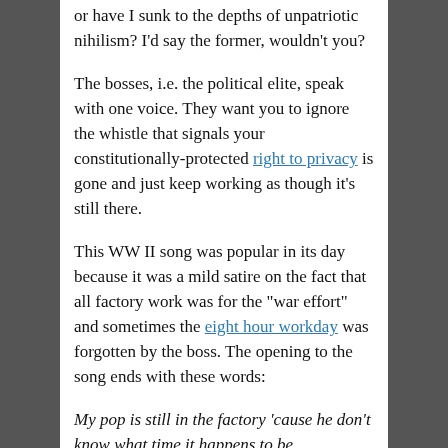or have I sunk to the depths of unpatriotic nihilism?  I'd say the former, wouldn't you?
The bosses, i.e. the political elite, speak with one voice.  They want you to ignore the whistle that signals your constitutionally-protected right to privacy is gone and just keep working as though it's still there.
This WW II song was popular in its day because it was a mild satire on the fact that all factory work was for the "war effort" and sometimes the eight hour workday was forgotten by the boss.  The opening to the song ends with these words:
My pop is still in the factory 'cause he don't know what time it happens to be.
Edward Snowden did blow the whistle on the government's trampling of our constitutional right to have private phone, e-mail, and other forms of communication.  His revelations may well be the "11th hour whistle" for our